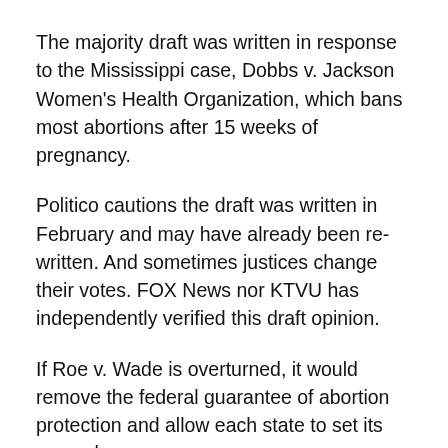The majority draft was written in response to the Mississippi case, Dobbs v. Jackson Women's Health Organization, which bans most abortions after 15 weeks of pregnancy.
Politico cautions the draft was written in February and may have already been re-written. And sometimes justices change their votes. FOX News nor KTVU has independently verified this draft opinion.
If Roe v. Wade is overturned, it would remove the federal guarantee of abortion protection and allow each state to set its own rules.
The court is expected to rule on the case before its term is up in late June or early July.
At arguments in December, all six conservative justices